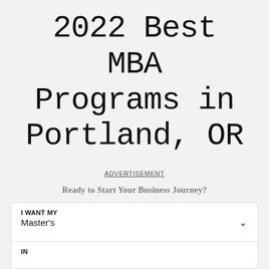2022 Best MBA Programs in Portland, OR
ADVERTISEMENT
Ready to Start Your Business Journey?
| I WANT MY | Master's |
| IN |  |